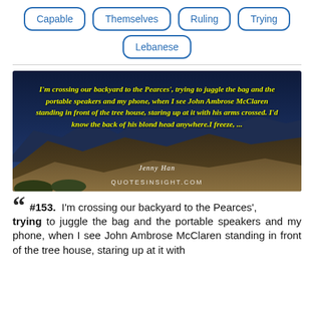Capable
Themselves
Ruling
Trying
Lebanese
[Figure (photo): A landscape photo with mountains and dark blue sky, overlaid with a yellow italic quote: 'I'm crossing our backyard to the Pearces', trying to juggle the bag and the portable speakers and my phone, when I see John Ambrose McClaren standing in front of the tree house, staring up at it with his arms crossed. I'd know the back of his blond head anywhere.I freeze, ...' attributed to Jenny Han. Watermark: QUOTESINSIGHT.COM]
#153. I'm crossing our backyard to the Pearces', trying to juggle the bag and the portable speakers and my phone, when I see John Ambrose McClaren standing in front of the tree house, staring up at it with